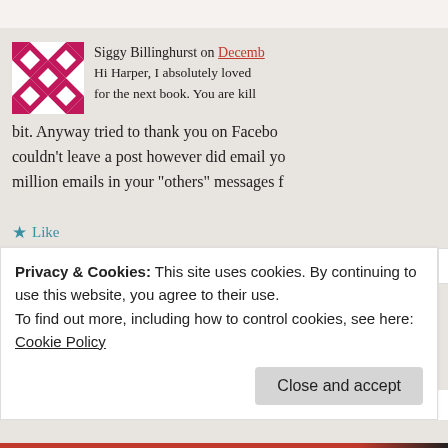Siggy Billinghurst on December [date link] Hi Harper, I absolutely loved [the book] for the next book. You are kil[ling me] bit. Anyway tried to thank you on Facebo[ok] couldn't leave a post however did email yo[u] million emails in your "others" messages f[older]
★ Like
Reply ↓
Privacy & Cookies: This site uses cookies. By continuing to use this website, you agree to their use.
To find out more, including how to control cookies, see here:
Cookie Policy
Close and accept